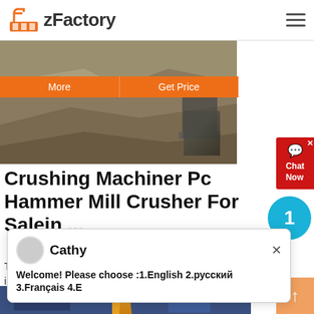zFactory
[Figure (photo): Quarry or mining site with heavy machinery and rock face. Orange 'More' and 'Get Price' buttons overlaid on top portion of image.]
Cathy
Welcome! Please choose :1.English 2.русский 3.Français 4.E
Crushing Machiner Pc Hammer Mill Crusher For Salein ...
The Hammer Crusher is one of the main equipment for intermediate and fine crushing the brittle materials such as limestone coal
[Figure (photo): Bottom image strip showing industrial/construction scene with yellow crane structure.]